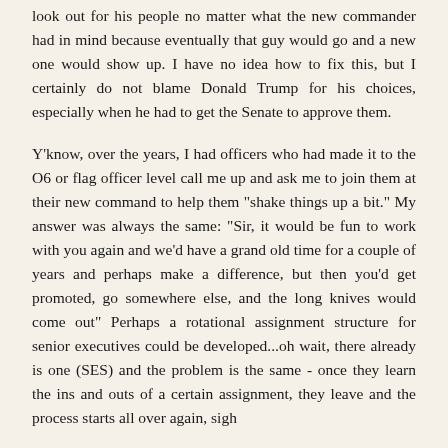look out for his people no matter what the new commander had in mind because eventually that guy would go and a new one would show up. I have no idea how to fix this, but I certainly do not blame Donald Trump for his choices, especially when he had to get the Senate to approve them.
Y'know, over the years, I had officers who had made it to the O6 or flag officer level call me up and ask me to join them at their new command to help them "shake things up a bit." My answer was always the same: "Sir, it would be fun to work with you again and we'd have a grand old time for a couple of years and perhaps make a difference, but then you'd get promoted, go somewhere else, and the long knives would come out" Perhaps a rotational assignment structure for senior executives could be developed...oh wait, there already is one (SES) and the problem is the same - once they learn the ins and outs of a certain assignment, they leave and the process starts all over again, sigh
I know of one CG who decided to rotate all his GS-15 directors around because he figured they could handle it and it would be a "good experience" for them. Whew, that was a wild ride...it was if an airplane pilot was given a train to run, a train engineer was given a battleship to command, a ship's captain was given a